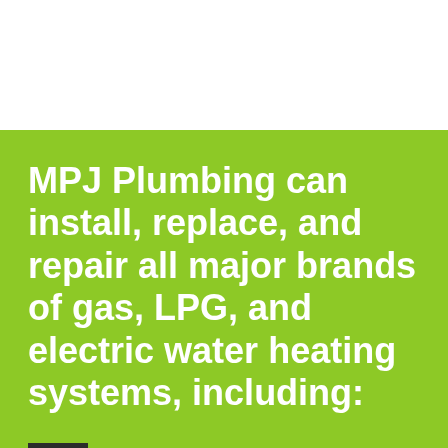MPJ Plumbing can install, replace, and repair all major brands of gas, LPG, and electric water heating systems, including:
Rheem